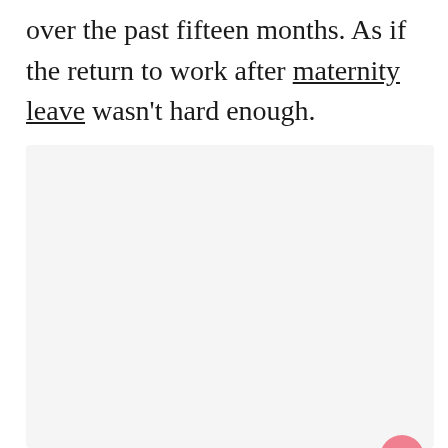over the past fifteen months. As if the return to work after maternity leave wasn't hard enough.
[Figure (other): Light gray placeholder image area with three small dots centered in the middle, indicating loading or empty content. Heart/like button (pink circle with heart icon), like count '2', and share button visible on the right side.]